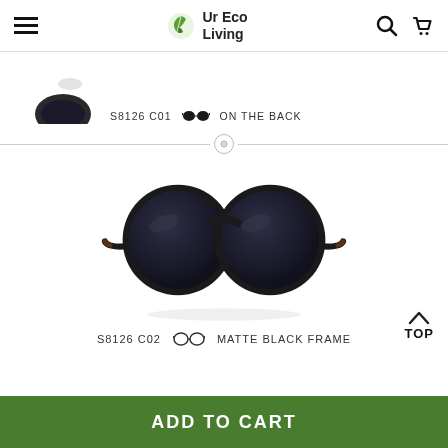Ur Eco Living - navigation header with hamburger menu, logo, search and cart icons
[Figure (photo): Partial product image of sunglasses from above (cut off), labeled S8126 C01 with small sunglass icon and text ON THE BACK]
[Figure (photo): Round frame sunglasses with matte black frame and dark lenses with red accent on temples, front view. Labeled S8126 C02 with sunglass outline icon and text MATTE BLACK FRAME]
S8126 C01    ON THE BACK
S8126 C02    MATTE BLACK FRAME
ADD TO CART